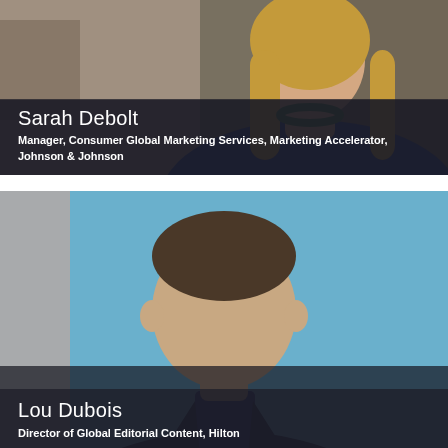[Figure (photo): Headshot photo of Sarah Debolt, a woman with long blonde hair wearing a blue top and green necklace, against an office background]
Sarah Debolt
Manager, Consumer Global Marketing Services, Marketing Accelerator, Johnson & Johnson
[Figure (photo): Headshot photo of Lou Dubois, a man in a dark navy blazer against a light blue background]
Lou Dubois
Director of Global Editorial Content, Hilton